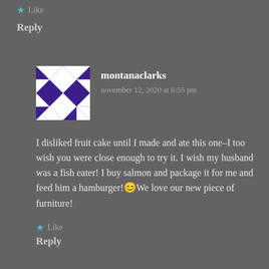★ Like
Reply
[Figure (illustration): Checkerboard diamond pattern avatar for user montanaclarks, purple and white squares]
montanaclarks
november 12, 2020 at 6:55 pm
I disliked fruit cake until I made and ate this one–I too wish you were close enough to try it. I wish my husband was a fish eater! I buy salmon and package it for me and feed him a hamburger!😊We love our new piece of furniture!
★ Like
Reply